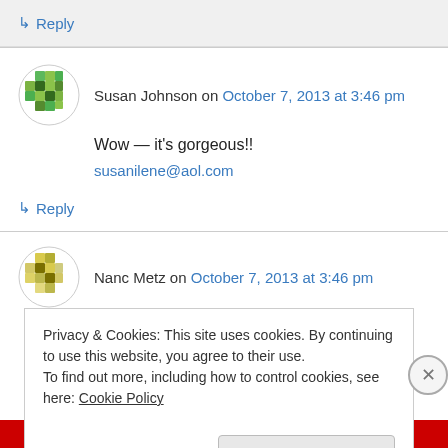↳ Reply
Susan Johnson on October 7, 2013 at 3:46 pm
Wow — it's gorgeous!!
susanilene@aol.com
↳ Reply
Nanc Metz on October 7, 2013 at 3:46 pm
Privacy & Cookies: This site uses cookies. By continuing to use this website, you agree to their use.
To find out more, including how to control cookies, see here: Cookie Policy
Close and accept